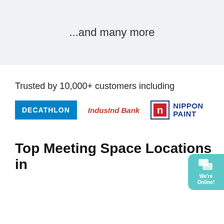...and many more
Trusted by 10,000+ customers including
[Figure (logo): Three company logos: DECATHLON (blue background, white text), IndusInd Bank (red italic text), Nippon Paint (blue border icon with n, blue bold text)]
Top Meeting Space Locations in